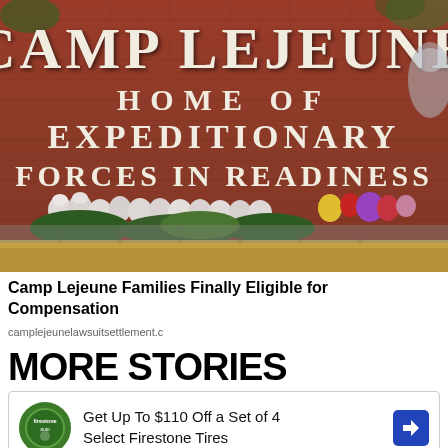[Figure (photo): Camp Lejeune entrance brick sign reading 'CAMP LEJEUNE HOME OF EXPEDITIONARY FORCES IN READINESS' with white flower arrangements laid at the base, green shrubs, and a Marine Corps emblem visible at right. Orange/brown fallen leaves on the ground.]
Camp Lejeune Families Finally Eligible for Compensation
camplejeunelawsuitsettlement.c
MORE STORIES
[Figure (screenshot): Advertisement box: Firestone Auto logo (green circle), text 'Get Up To $110 Off a Set of 4 Select Firestone Tires', blue diamond arrow icon at right. Below: play button icon and X icon in blue.]